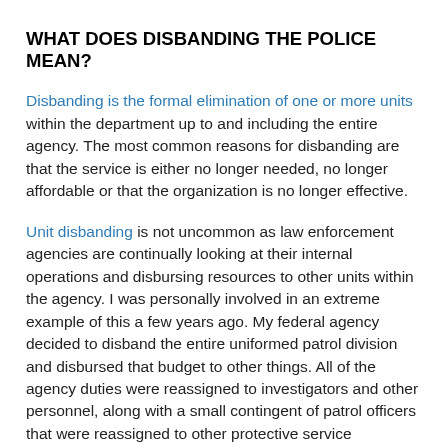WHAT DOES DISBANDING THE POLICE MEAN?
Disbanding is the formal elimination of one or more units within the department up to and including the entire agency. The most common reasons for disbanding are that the service is either no longer needed, no longer affordable or that the organization is no longer effective.
Unit disbanding is not uncommon as law enforcement agencies are continually looking at their internal operations and disbursing resources to other units within the agency. I was personally involved in an extreme example of this a few years ago. My federal agency decided to disband the entire uniformed patrol division and disbursed that budget to other things. All of the agency duties were reassigned to investigators and other personnel, along with a small contingent of patrol officers that were reassigned to other protective service